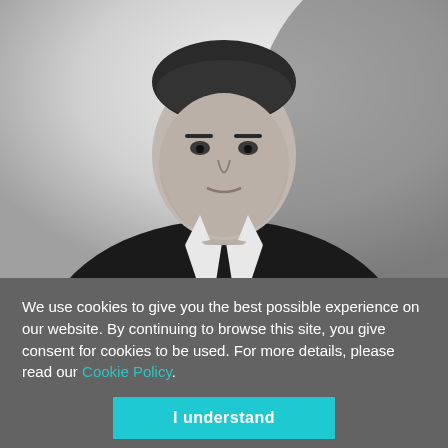[Figure (photo): Black and white portrait photo of a young man in a dark suit and tie, looking directly at the camera with a serious expression against a light background.]
We use cookies to give you the best possible experience on our website. By continuing to browse this site, you give consent for cookies to be used. For more details, please read our Cookie Policy.
I understand